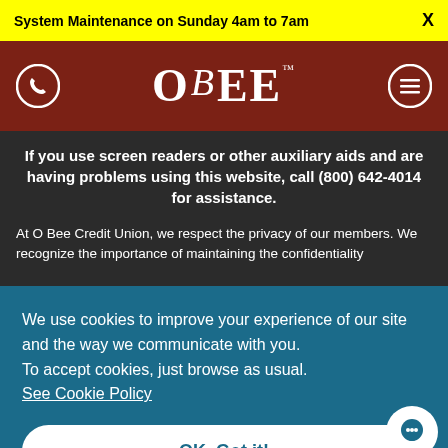System Maintenance on Sunday 4am to 7am  X
[Figure (logo): O Bee Credit Union logo with phone icon and hamburger menu icon on dark red background]
If you use screen readers or other auxiliary aids and are having problems using this website, call (800) 642-4014 for assistance.
At O Bee Credit Union, we respect the privacy of our members. We recognize the importance of maintaining the confidentiality of your personal financial information. You may apply for products and manage your finances and bank accounts through O Bee's website. The information on O Bee's website is intended to be accurate. However there may be inaccuracies at times which we will make every attempt to correct when found. Information is intended to assist you in making financial decisions and does not eliminate the need to discuss your particular circumstances with a qualified professional.
We use cookies to improve your experience of our site and the way we communicate with you.
To accept cookies, just browse as usual.
See Cookie Policy
OK. Got it!
Copyright © 2021 O Bee Credit Union. All rights reserved.